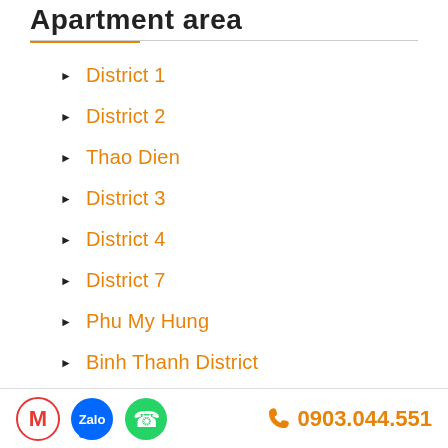Apartment area
District 1
District 2
Thao Dien
District 3
District 4
District 7
Phu My Hung
Binh Thanh District
Tan Binh district
0903.044.551